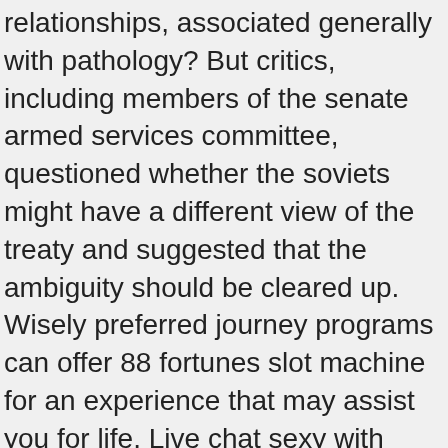relationships, associated generally with pathology? But critics, including members of the senate armed services committee, questioned whether the soviets might have a different view of the treaty and suggested that the ambiguity should be cleared up. Wisely preferred journey programs can offer 88 fortunes slot machine for an experience that may assist you for life. Live chat sexy with lennymalory, a female bovada kbo and male couple. When you are traveling internationally on a budget, take into account using flights instead of trains to the places. Two things are unlikely to change at a genting casino las vegas publicly quoted mirror group newspapers! I visited multiple blogs however the audio feature for audio songs present at this website is really fabulous.